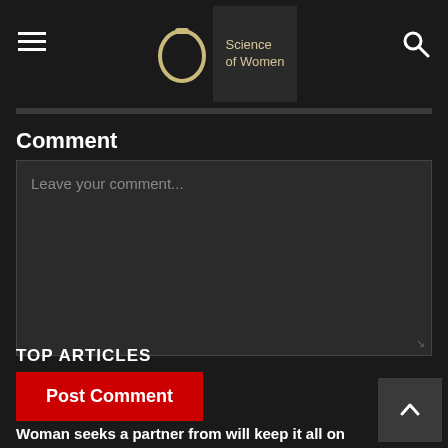Science of Women
Comment
Leave your comment...
Post Comment
TOP ARTICLES
Woman seeks a partner from will keep it all on